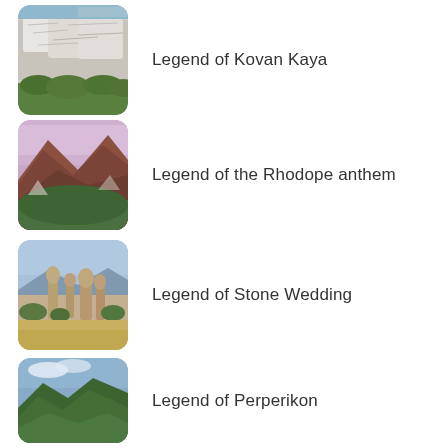[Figure (photo): Rocky cliff face with white stone formations and green vegetation at the base - Legend of Kovan Kaya]
Legend of Kovan Kaya
[Figure (photo): Mountain landscape with reddish-brown slopes, purple sky, and green valley - Legend of the Rhodope anthem]
Legend of the Rhodope anthem
[Figure (photo): Rock formations resembling petrified figures among green shrubs and dry grass - Legend of Stone Wedding]
Legend of Stone Wedding
[Figure (photo): Forested hillside landscape with blue sky - Legend of Perperikon]
Legend of Perperikon